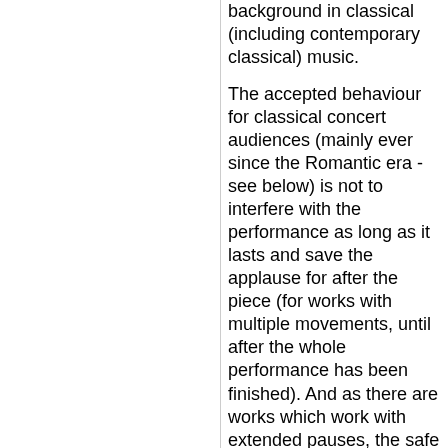background in classical (including contemporary classical) music.
The accepted behaviour for classical concert audiences (mainly ever since the Romantic era - see below) is not to interfere with the performance as long as it lasts and save the applause for after the piece (for works with multiple movements, until after the whole performance has been finished). And as there are works which work with extended pauses, the safe bet for the audience is to wait until the performer clearly shows that he is done.